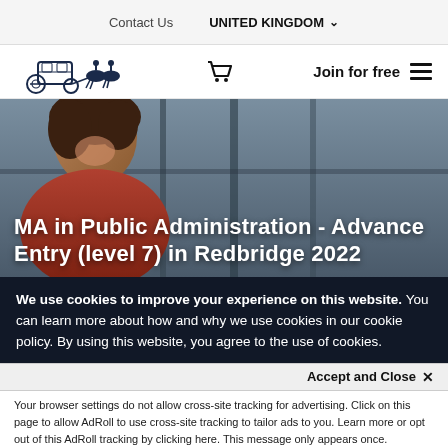Contact Us   UNITED KINGDOM ▾
[Figure (logo): Logo of a horse-drawn carriage illustration in navy blue, with shopping cart icon and Join for free text with hamburger menu icon]
[Figure (photo): Young woman smiling while looking at a laptop screen, with a title overlay reading: MA in Public Administration - Advance Entry (level 7) in Redbridge 2022]
MA in Public Administration - Advance Entry (level 7) in Redbridge 2022
We use cookies to improve your experience on this website. You can learn more about how and why we use cookies in our cookie policy. By using this website, you agree to the use of cookies.
Accept and Close ✕
Your browser settings do not allow cross-site tracking for advertising. Click on this page to allow AdRoll to use cross-site tracking to tailor ads to you. Learn more or opt out of this AdRoll tracking by clicking here. This message only appears once.